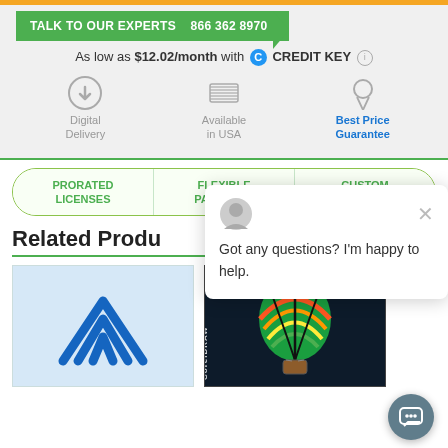[Figure (screenshot): Orange bar at top of page]
TALK TO OUR EXPERTS  866 362 8970
As low as $12.02/month with C CREDIT KEY ℹ
[Figure (infographic): Three badges: Digital Delivery, Available in USA, Best Price Guarantee]
PRORATED LICENSES | FLEXIBLE PAYMENTS | CUSTOM ORDERS
Related Produ
[Figure (screenshot): Chat popup: Got any questions? I'm happy to help.]
[Figure (logo): SketchUp blue angular logo thumbnail]
[Figure (photo): CorelDRAW product box with hot air balloon on dark background]